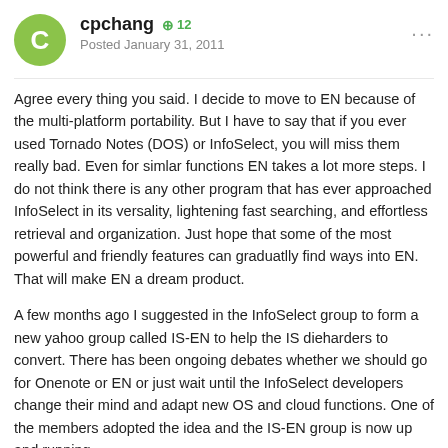cpchang +12 Posted January 31, 2011
Agree every thing you said. I decide to move to EN because of the multi-platform portability. But I have to say that if you ever used Tornado Notes (DOS) or InfoSelect, you will miss them really bad. Even for simlar functions EN takes a lot more steps. I do not think there is any other program that has ever approached InfoSelect in its versality, lightening fast searching, and effortless retrieval and organization. Just hope that some of the most powerful and friendly features can graduatlly find ways into EN. That will make EN a dream product.
A few months ago I suggested in the InfoSelect group to form a new yahoo group called IS-EN to help the IS dieharders to convert. There has been ongoing debates whether we should go for Onenote or EN or just wait until the InfoSelect developers change their mind and adapt new OS and cloud functions. One of the members adopted the idea and the IS-EN group is now up and running.
p.s. I just posted the following in the InfoSelect group yesterday,
"...Any way, I am very pleased with EN after a month or so's use and I am so overwhelmed by the fantastic technical support and near real time